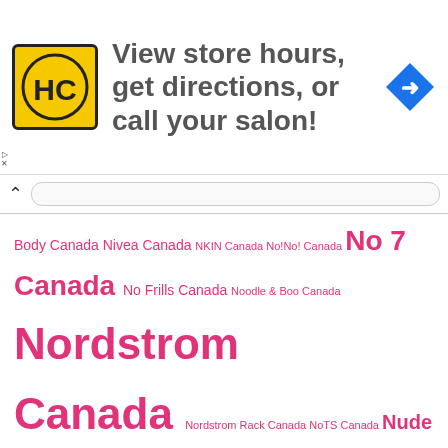[Figure (logo): HC salon logo and advertisement banner: View store hours, get directions, or call your salon!]
Body Canada Nivea Canada NKIN Canada No!No! Canada No 7 Canada No Frills Canada Noodle & Boo Canada Nordstrom Canada Nordstrom Rack Canada NoTS Canada Nude By Nature Canada Nudestix Canada Nuface Canada NuMe Canada Nutter Butter Canada Nuxe Canada Nyx Professional Makeup Canada NYX Cosmetics Canada Nécessaire Canada Obagi Clinical Canada Odacite Canada Ofra Cosmetics Canada Ogx Canada Oh K! Canada Ojesh Canada Olaplex Canada Olay Canada Old Spice Canada Old Navy Canada Olehenriksen Canada Ombrelle Canada OM Mushrooms Canada Omorovicza Canada Ona New York Canada ONE/SIZE Beauty Canada Oneka Elements Canada OPI Canada Oral B Canada Organika